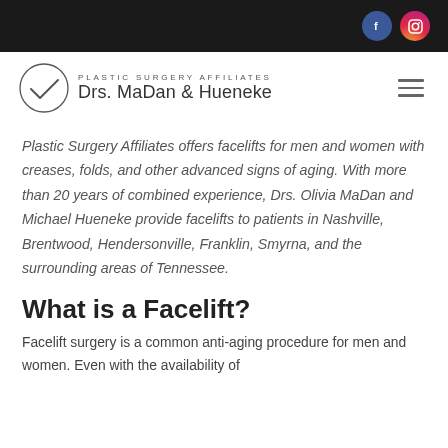[Figure (logo): Plastic Surgery Affiliates logo with circle checkmark and text 'PLASTIC SURGERY AFFILIATES Drs. MaDan & Hueneke']
Plastic Surgery Affiliates offers facelifts for men and women with creases, folds, and other advanced signs of aging. With more than 20 years of combined experience, Drs. Olivia MaDan and Michael Hueneke provide facelifts to patients in Nashville, Brentwood, Hendersonville, Franklin, Smyrna, and the surrounding areas of Tennessee.
What is a Facelift?
Facelift surgery is a common anti-aging procedure for men and women. Even with the availability of